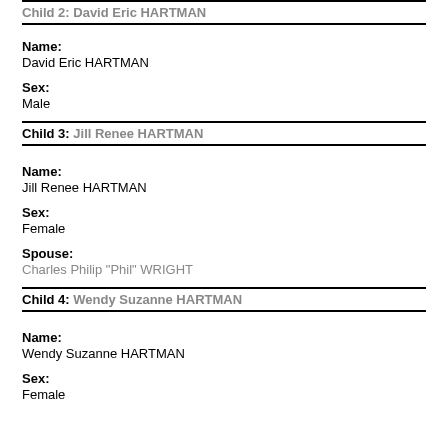Child 2: David Eric HARTMAN
Name:
David Eric HARTMAN
Sex:
Male
Child 3: Jill Renee HARTMAN
Name:
Jill Renee HARTMAN
Sex:
Female
Spouse:
Charles Philip "Phil" WRIGHT
Child 4: Wendy Suzanne HARTMAN
Name:
Wendy Suzanne HARTMAN
Sex:
Female